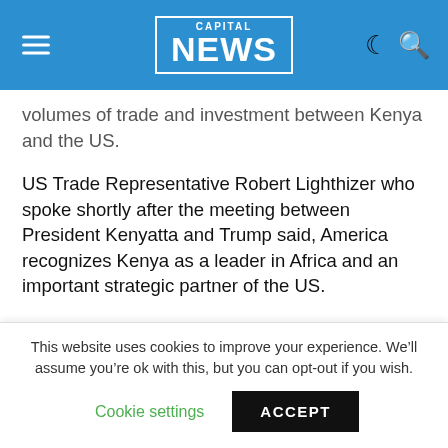CAPITAL NEWS
volumes of trade and investment between Kenya and the US.
US Trade Representative Robert Lighthizer who spoke shortly after the meeting between President Kenyatta and Trump said, America recognizes Kenya as a leader in Africa and an important strategic partner of the US.
He said a new trade agreement presents the two countries a rare opportunity to explore ways of deepening Kenya-US economic and commercial ties.
“Under President Trump’s leadership, we look forward to
This website uses cookies to improve your experience. We’ll assume you’re ok with this, but you can opt-out if you wish.
Cookie settings  ACCEPT